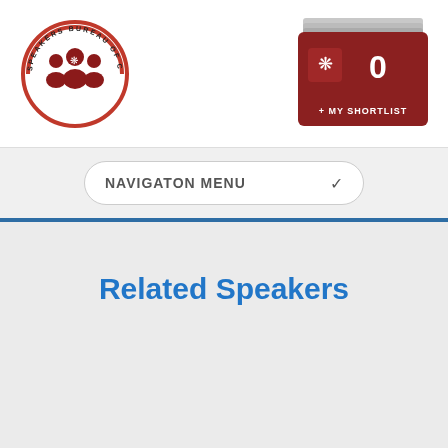[Figure (logo): Speakers Bureau of Canada circular logo with people silhouettes and maple leaf]
[Figure (screenshot): My Shortlist button showing 0 items, dark red/brown color with maple leaf icon]
NAVIGATON MENU
Related Speakers